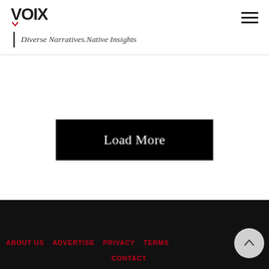VOIX
Diverse Narratives.Native Insights
Load More
ABOUT US  ADVERTISE  PRIVACY  TERMS  CONTACT